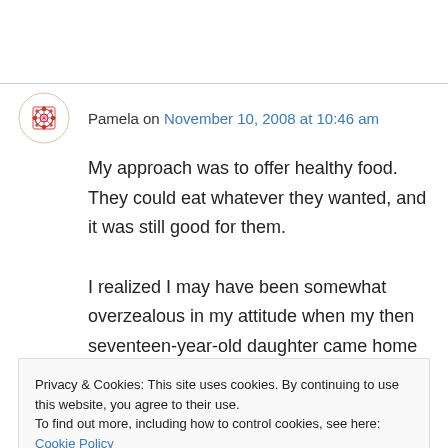Pamela on November 10, 2008 at 10:46 am
My approach was to offer healthy food. They could eat whatever they wanted, and it was still good for them.
I realized I may have been somewhat overzealous in my attitude when my then seventeen-year-old daughter came home with
Privacy & Cookies: This site uses cookies. By continuing to use this website, you agree to their use.
To find out more, including how to control cookies, see here: Cookie Policy
Close and accept